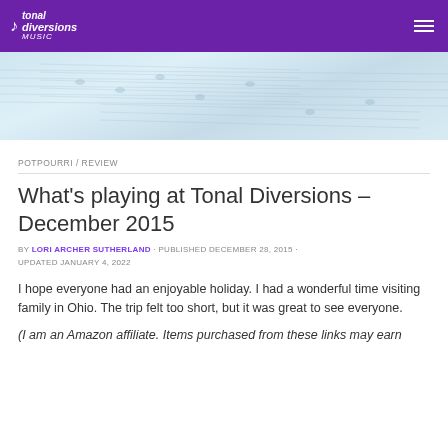Tonal Diversions Music
[Figure (photo): Background banner image of sheet music pages, light blue/white tones]
POTPOURRI / REVIEW
What's playing at Tonal Diversions – December 2015
BY LORI ARCHER SUTHERLAND · PUBLISHED DECEMBER 28, 2015 · UPDATED JANUARY 4, 2022
I hope everyone had an enjoyable holiday. I had a wonderful time visiting family in Ohio. The trip felt too short, but it was great to see everyone.
(I am an Amazon affiliate. Items purchased from these links may earn